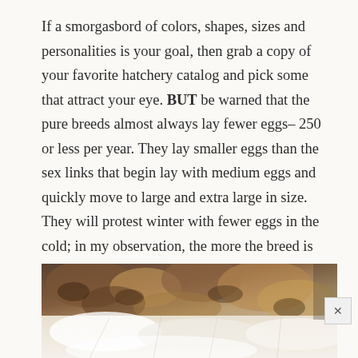If a smorgasbord of colors, shapes, sizes and personalities is your goal, then grab a copy of your favorite hatchery catalog and pick some that attract your eye. BUT be warned that the pure breeds almost always lay fewer eggs– 250 or less per year. They lay smaller eggs than the sex links that begin lay with medium eggs and quickly move to large and extra large in size. They will protest winter with fewer eggs in the cold; in my observation, the more the breed is billed as a heritage bird, the longer it will take to begin laying again in spring!
[Figure (photo): Close-up photograph of chicken feathers — brown and white patterned feathers visible in the upper portion, with white feathers in the lower portion, against a dark background.]